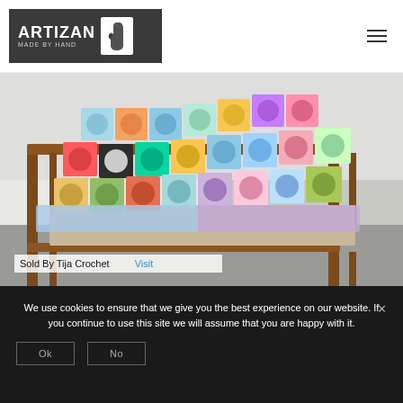[Figure (logo): Artizan Made By Hand logo: dark grey rectangle with white text 'ARTIZAN' and 'MADE BY HAND' beside a hand print icon on white background]
[Figure (photo): Colorful crocheted granny-square blanket draped over a wooden chair, photographed on a grey tile floor against a white wall]
Sold By Tija Crochet
Visit
We use cookies to ensure that we give you the best experience on our website. If you continue to use this site we will assume that you are happy with it.
Ok
No